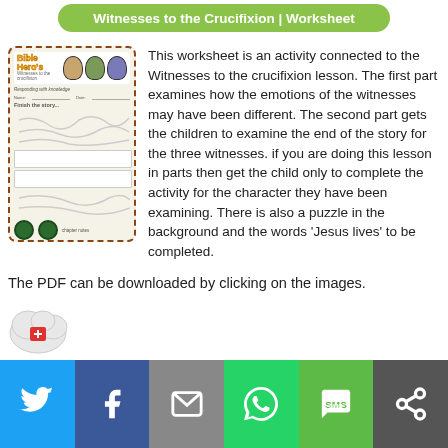Witnesses to the Crucifixion | Worksheet
[Figure (illustration): Thumbnail of the Bible Hero's Witnesses to the Crucifixion worksheet showing dashed border, Bible Heroes title, illustrated figures, writing lines, boxes, and scribble activity]
This worksheet is an activity connected to the Witnesses to the crucifixion lesson. The first part examines how the emotions of the witnesses may have been different. The second part gets the children to examine the end of the story for the three witnesses. if you are doing this lesson in parts then get the child only to complete the activity for the character they have been examining. There is also a puzzle in the background and the words ‘Jesus lives’ to be completed.
The PDF can be downloaded by clicking on the images.
[Figure (illustration): Partial cloud/document thumbnail visible at bottom]
Twitter | Facebook | Email | WhatsApp | SMS | More